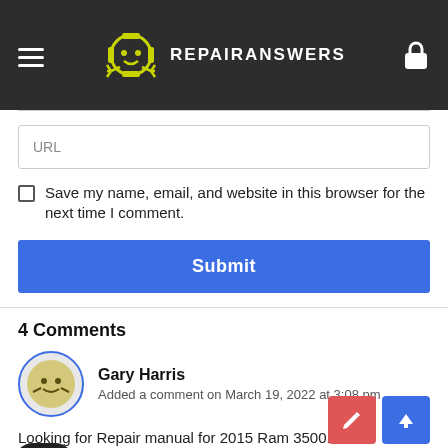REPAIRANSWERS
URL
Save my name, email, and website in this browser for the next time I comment.
Submit
4 Comments
Gary Harris
Added a comment on March 19, 2022 at 3:08 pm
Looking for Repair manual for 2015 Ram 3500.